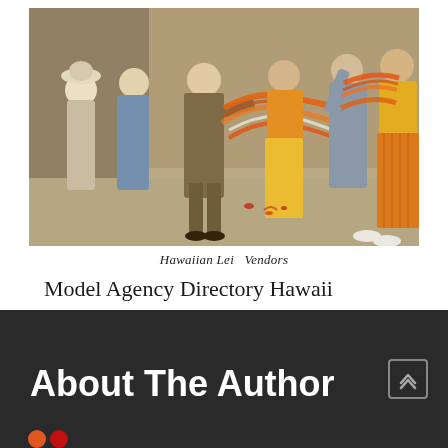[Figure (photo): Vintage color photograph of Hawaiian Lei Vendors. Several women in colorful dresses (orange, blue, yellow, striped) holding leis and placing them on a man in a suit. The scene appears to be outdoors on a paved area.]
Hawaiian Lei  Vendors
Model Agency Directory Hawaii
About The Author